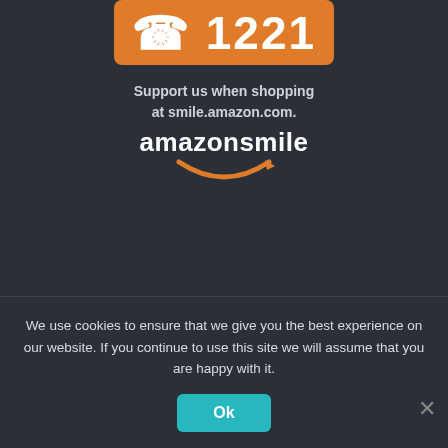[Figure (logo): Orange rounded rectangle logo with white text '1221' and phone icon, representing United Hatzalah]
Support us when shopping at smile.amazon.com.
[Figure (logo): Amazon Smile logo - white text 'amazonsmile' with orange smile arc underneath]
[Figure (illustration): Israeli flag - white with blue stripes and Star of David]
ISRAEL
United Hatzalah of Israel
78 Yirmiyahu Street
P.O.B 36233 Jerusalem 91361
Tel: +972-2-5002020
Fax: +972-2-5002025
We use cookies to ensure that we give you the best experience on our website. If you continue to use this site we will assume that you are happy with it.
Ok